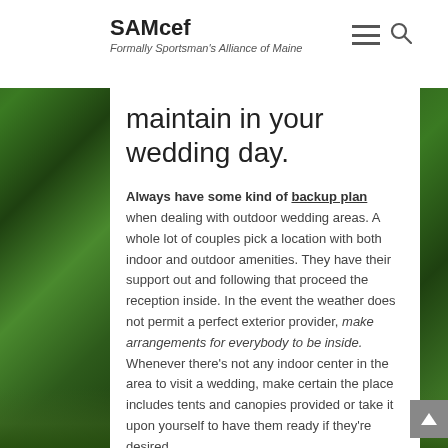SAMcef — Formally Sportsman's Alliance of Maine
maintain in your wedding day.
Always have some kind of backup plan when dealing with outdoor wedding areas. A whole lot of couples pick a location with both indoor and outdoor amenities. They have their support out and following that proceed the reception inside. In the event the weather does not permit a perfect exterior provider, make arrangements for everybody to be inside. Whenever there's not any indoor center in the area to visit a wedding, make certain the place includes tents and canopies provided or take it upon yourself to have them ready if they're desired.
There are tons of unique facts to consider.
Posted in Nature | Tagged nature, outdoors, wedding